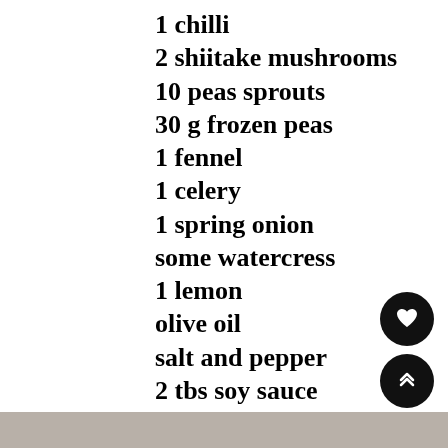1 chilli
2 shiitake mushrooms
10 peas sprouts
30 g frozen peas
1 fennel
1 celery
1 spring onion
some watercress
1 lemon
olive oil
salt and pepper
2 tbs soy sauce
[Figure (other): Heart/favourite button icon (black circle with white heart)]
[Figure (other): Scroll-up button icon (black circle with white double chevron up)]
[Figure (photo): Partial photo strip at bottom of page showing wooden surface]